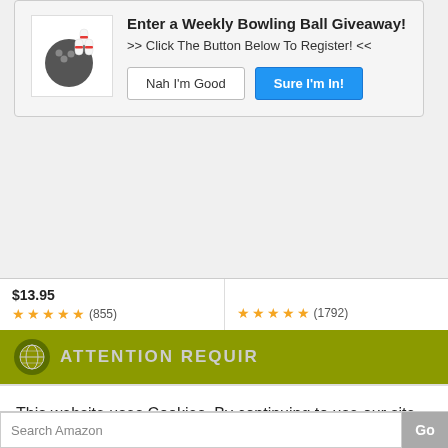[Figure (screenshot): Popup modal for Weekly Bowling Ball Giveaway with bowling ball and pins icon, title, subtitle, and two buttons: 'Nah I'm Good' and 'Sure I'm In!']
$13.95
★★★★★ (855)
★★★★★ (1792)
[Figure (photo): Black bowling shoe bag]
[Figure (photo): VISE brand bowling tape/accessories package in blue/navy]
ATTENTION REQUIR
This website uses Cookies. By continuing to use our site, you consent to the use of cookies.
Accept
Privacy Center
Search Amazon